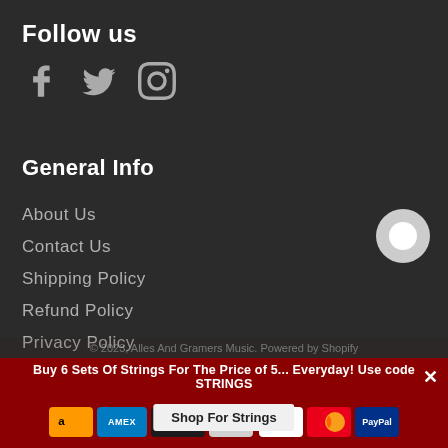Follow us
[Figure (illustration): Social media icons: Facebook (f), Twitter (bird), Instagram (camera)]
General Info
About Us
Contact Us
Shipping Policy
Refund Policy
Privacy Policy
Terms of Service
© 2023, Alles And Gramers Music. Powered by Shopify
Buy 6 Sets Of Strings For The Price of 5... Everyday! Use code STRINGS
[Figure (illustration): Payment method icons: Amazon, Amex, Apple Pay, Diners, Google Pay, Mastercard, PayPal. Shop For Strings button in center.]